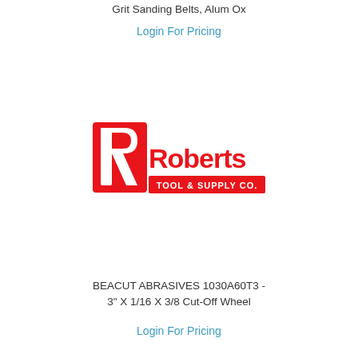Grit Sanding Belts, Alum Ox
Login For Pricing
[Figure (logo): Roberts Tool & Supply Co. logo — red stylized R with 'Roberts' text and 'TOOL & SUPPLY CO.' on a red banner]
BEACUT ABRASIVES 1030A60T3 - 3" X 1/16 X 3/8 Cut-Off Wheel
Login For Pricing